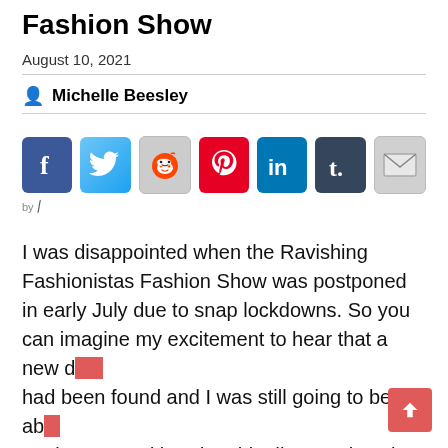Fashion Show
August 10, 2021
Michelle Beesley
[Figure (screenshot): Row of social media share icons: Facebook, Twitter, Reddit, Pinterest, LinkedIn, Tumblr, Email. Below is a 'by' label with a swoosh logo.]
I was disappointed when the Ravishing Fashionistas Fashion Show was postponed in early July due to snap lockdowns. So you can imagine my excitement to hear that a new date had been found and I was still going to be able to glam up and head to this diverse show in